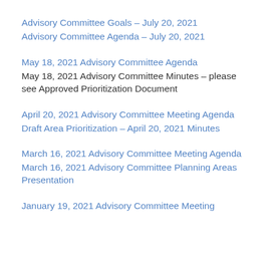Advisory Committee Goals – July 20, 2021
Advisory Committee Agenda – July 20, 2021
May 18, 2021 Advisory Committee Agenda
May 18, 2021 Advisory Committee Minutes – please see Approved Prioritization Document
April 20, 2021 Advisory Committee Meeting Agenda
Draft Area Prioritization – April 20, 2021 Minutes
March 16, 2021 Advisory Committee Meeting Agenda
March 16, 2021 Advisory Committee Planning Areas Presentation
January 19, 2021 Advisory Committee Meeting